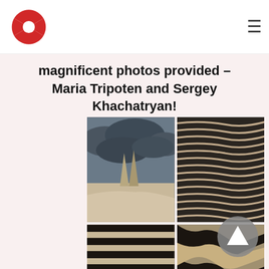Photography website header with logo and navigation menu
magnificent photos provided – Maria Tripoten and Sergey Khachatryan!
[Figure (photo): Four landscape/nature photographs in a 2x2 grid. Top-left: rocky spire formations under dramatic storm clouds in a desert landscape. Top-right: dark sand dune ripples pattern close-up. Bottom-left: parallel wavy sand dune lines in black and white. Bottom-right: textured sand patterns with wavy ridges and shadows.]